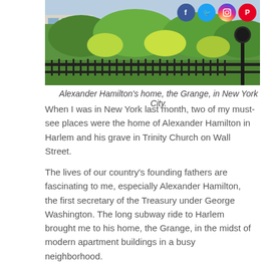[Figure (photo): Alexander Hamilton's home, the Grange, in New York City. A green park area with iron fence and a lamppost visible on the right. Social media icons (Facebook, Twitter, Instagram, Pinterest) overlaid in the top-right corner.]
Alexander Hamilton's home, the Grange, in New York City.
When I was in New York last month, two of my must-see places were the home of Alexander Hamilton in Harlem and his grave in Trinity Church on Wall Street.
The lives of our country's founding fathers are fascinating to me, especially Alexander Hamilton, the first secretary of the Treasury under George Washington. The long subway ride to Harlem brought me to his home, the Grange, in the midst of modern apartment buildings in a busy neighborhood.
I walked through his beautiful house thinking about the brilliant conversations that must have taken place there.
I stood beside Hamilton's grave in the historic cemetery of Trinity Church, now shadowed and surrounded by